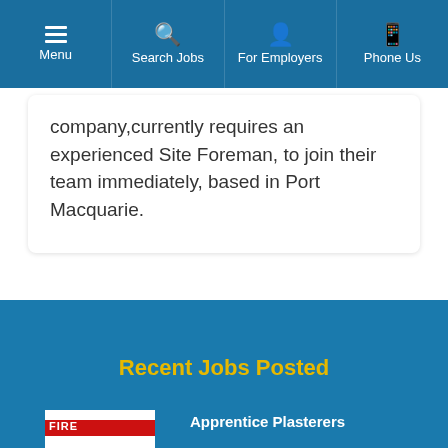Menu | Search Jobs | For Employers | Phone Us
company,currently requires an experienced Site Foreman, to join their team immediately, based in Port Macquarie.
← Older posts
Recent Jobs Posted
Apprentice Plasterers